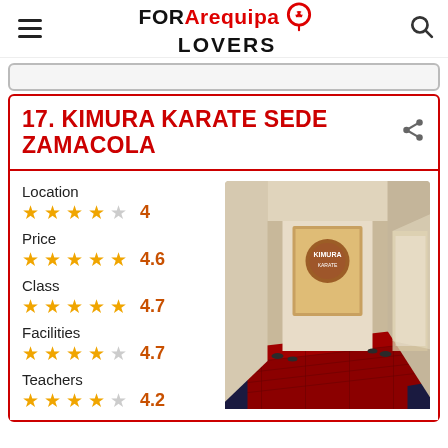FOR Arequipa LOVERS
17. KIMURA KARATE SEDE ZAMACOLA
Location  ★★★★☆  4
Price  ★★★★½  4.6
Class  ★★★★½  4.7
Facilities  ★★★★½  4.7
Teachers  ★★★★☆  4.2
[Figure (photo): Interior photo of Kimura Karate Sede Zamacola showing a hallway with red martial arts mats on the floor, white walls, and a logo/sign visible at the far end. Dark blue puzzle mats visible in foreground corners.]